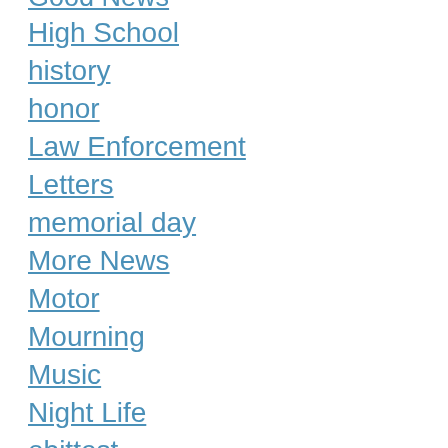Good News
High School
history
honor
Law Enforcement
Letters
memorial day
More News
Motor
Mourning
Music
Night Life
obittest
Obituaries
Opinions
Politi...